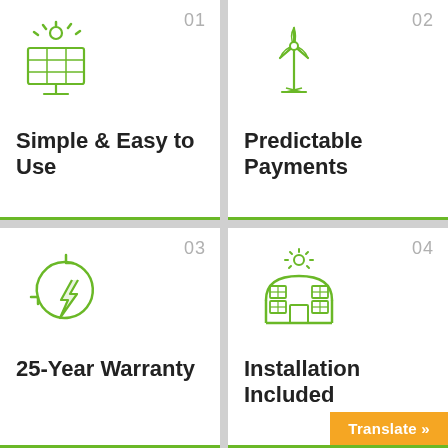[Figure (illustration): Green solar panel icon with sun rays above]
01
Simple & Easy to Use
[Figure (illustration): Green wind turbine icon]
02
Predictable Payments
[Figure (illustration): Green energy recycling/lightning bolt icon in circular arrows]
03
25-Year Warranty
[Figure (illustration): Green greenhouse/building icon with sun rays]
04
Installation Included
Translate »